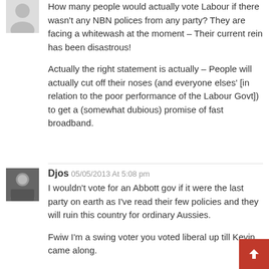How many people would actually vote Labour if there wasn't any NBN polices from any party? They are facing a whitewash at the moment – Their current rein has been disastrous!

Actually the right statement is actually – People will actually cut off their noses (and everyone elses' [in relation to the poor performance of the Labour Govt]) to get a (somewhat dubious) promise of fast broadband.
Djos 05/05/2013 At 5:08 pm
I wouldn't vote for an Abbott gov if it were the last party on earth as I've read their few policies and they will ruin this country for ordinary Aussies.

Fwiw I'm a swing voter you voted liberal up till Kevin came along.